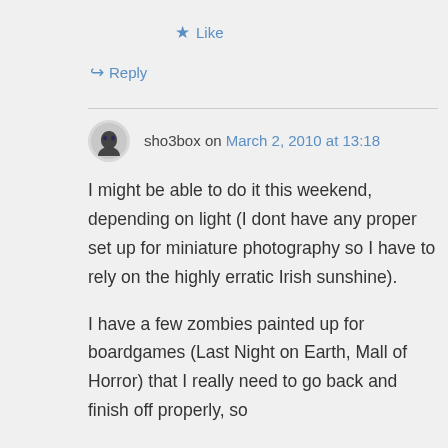★ Like
↪ Reply
sho3box on March 2, 2010 at 13:18
I might be able to do it this weekend, depending on light (I dont have any proper set up for miniature photography so I have to rely on the highly erratic Irish sunshine).
I have a few zombies painted up for boardgames (Last Night on Earth, Mall of Horror) that I really need to go back and finish off properly, so